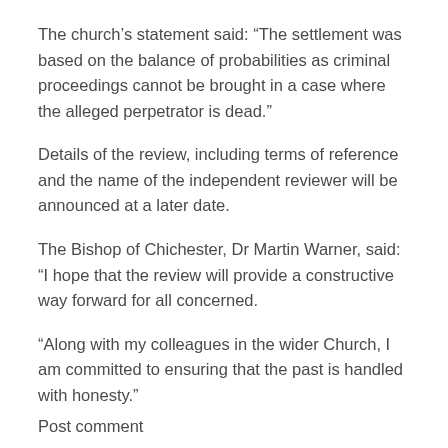The church's statement said: “The settlement was based on the balance of probabilities as criminal proceedings cannot be brought in a case where the alleged perpetrator is dead.”
Details of the review, including terms of reference and the name of the independent reviewer will be announced at a later date.
The Bishop of Chichester, Dr Martin Warner, said: “I hope that the review will provide a constructive way forward for all concerned.
“Along with my colleagues in the wider Church, I am committed to ensuring that the past is handled with honesty.”
Post comment